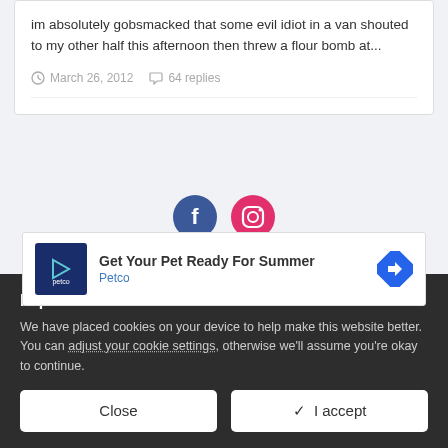im absolutely gobsmacked that some evil idiot in a van shouted to my other half this afternoon then threw a flour bomb at...
March 26, 2012   64 replies
[Figure (screenshot): Social media icons: Facebook (blue circle) and Instagram (pink/red circle)]
[Figure (screenshot): Ad banner: Petco - Get Your Pet Ready For Summer]
PC... Click ... ch our terms of use.
Important Information
We have placed cookies on your device to help make this website better. You can adjust your cookie settings, otherwise we'll assume you're okay to continue.
Close   ✓  I accept